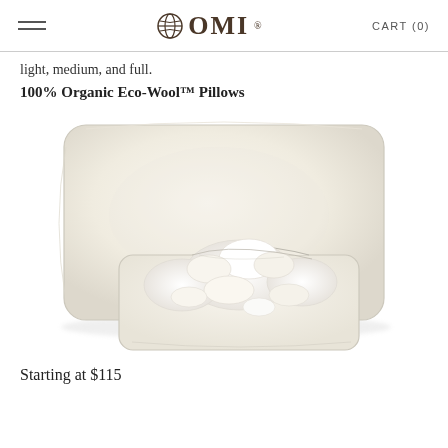OMI | CART (0)
light, medium, and full.
100% Organic Eco-Wool™ Pillows
[Figure (photo): A cream/white organic wool-filled pillow shown from the front; a smaller pillow bag is open in the foreground showing chunky white wool fill spilling out.]
Starting at $115